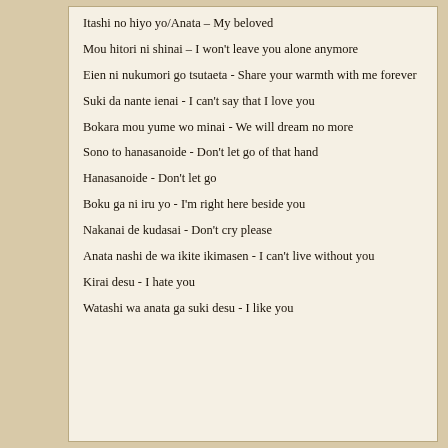Itashi no hiyo yo/Anata – My beloved
Mou hitori ni shinai – I won't leave you alone anymore
Eien ni nukumori go tsutaeta - Share your warmth with me forever
Suki da nante ienai - I can't say that I love you
Bokara mou yume wo minai - We will dream no more
Sono to hanasanoide - Don't let go of that hand
Hanasanoide - Don't let go
Boku ga ni iru yo - I'm right here beside you
Nakanai de kudasai - Don't cry please
Anata nashi de wa ikite ikimasen - I can't live without you
Kirai desu - I hate you
Watashi wa anata ga suki desu - I like you